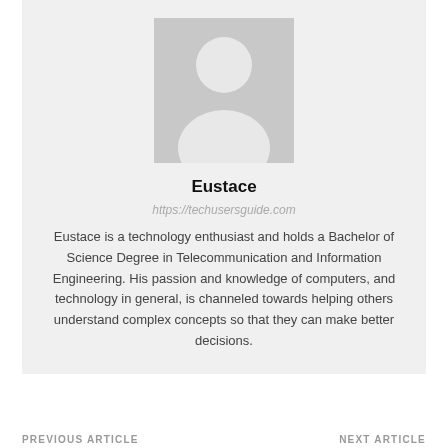[Figure (photo): Generic person/avatar placeholder silhouette — white head and shoulders on a light gray rectangle background]
Eustace
https://techusersguide.com
Eustace is a technology enthusiast and holds a Bachelor of Science Degree in Telecommunication and Information Engineering. His passion and knowledge of computers, and technology in general, is channeled towards helping others understand complex concepts so that they can make better decisions.
PREVIOUS ARTICLE   NEXT ARTICLE